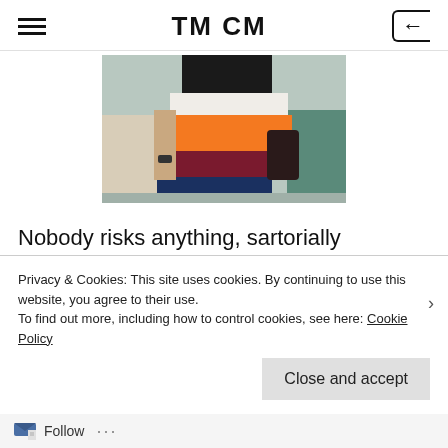TM CM
[Figure (photo): Partial view of a person holding colorful striped clothing with orange, dark red/maroon, and navy blue colors, in an indoor setting.]
Nobody risks anything, sartorially speaking, at Wimbledon. Just because the aura is smart/pretty/casual doesn't mean it won't feel like dress up. When I go to Wimbledon
Privacy & Cookies: This site uses cookies. By continuing to use this website, you agree to their use.
To find out more, including how to control cookies, see here: Cookie Policy
Close and accept
Follow